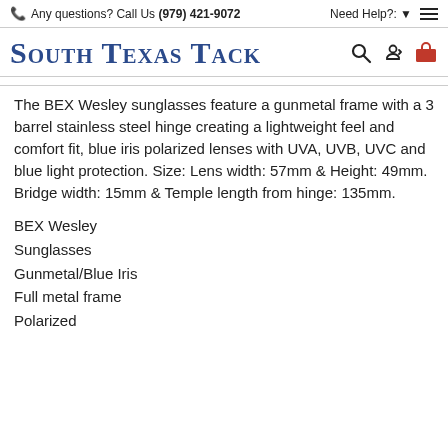Any questions? Call Us (979) 421-9072 | Need Help?: ▾ ☰
South Texas Tack
The BEX Wesley sunglasses feature a gunmetal frame with a 3 barrel stainless steel hinge creating a lightweight feel and comfort fit, blue iris polarized lenses with UVA, UVB, UVC and blue light protection. Size: Lens width: 57mm & Height: 49mm. Bridge width: 15mm & Temple length from hinge: 135mm.
BEX Wesley
Sunglasses
Gunmetal/Blue Iris
Full metal frame
Polarized